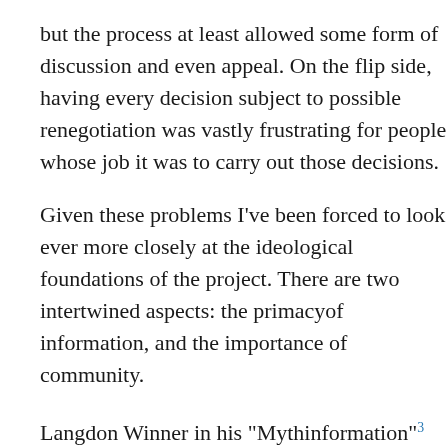but the process at least allowed some form of discussion and even appeal. On the flip side, having every decision subject to possible renegotiation was vastly frustrating for people whose job it was to carry out those decisions.
Given these problems I've been forced to look ever more closely at the ideological foundations of the project. There are two intertwined aspects: the primacyof information, and the importance of community.
Langdon Winner in his "Mythinformation"3 says: "The political arguments of computer romantics draw upon four key assumptions: 1) people are bereft of information; 2) information is knowledge; 3) knowledge is power; and 4) increased access to information